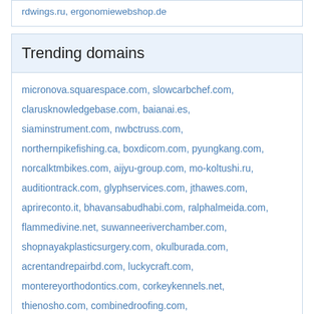rdwings.ru, ergonomiewebshop.de
Trending domains
micronova.squarespace.com, slowcarbchef.com, clarusknowledgebase.com, baianai.es, siaminstrument.com, nwbctruss.com, northernpikefishing.ca, boxdicom.com, pyungkang.com, norcalktmbikes.com, aijyu-group.com, mo-koltushi.ru, auditiontrack.com, glyphservices.com, jthawes.com, aprireconto.it, bhavansabudhabi.com, ralphalmeida.com, flammedivine.net, suwanneeriverchamber.com, shopnayakplasticsurgery.com, okulburada.com, acrentandrepairbd.com, luckycraft.com, montereyorthodontics.com, corkeykennels.net, thienosho.com, combinedroofing.com, lakewedoweeleaders.com, lifehopechurch.org